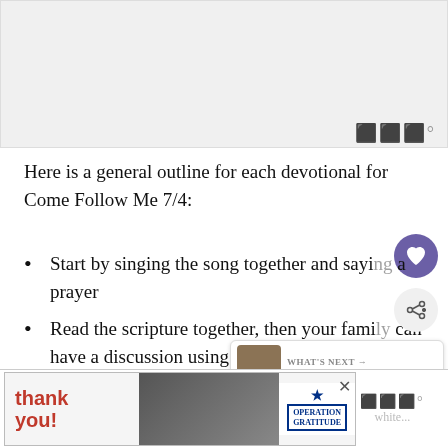[Figure (photo): Light gray image placeholder at top of page]
Here is a general outline for each devotional for Come Follow Me 7/4:
Start by singing the song together and saying a prayer
Read the scripture together, then your family can have a discussion using the questions/comments provided.
Copy the journal entries into a spiral...
[Figure (infographic): Advertisement banner at bottom: Thank you Operation Gratitude with firefighters photo]